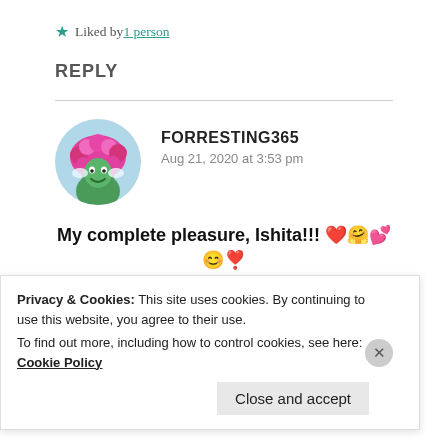Liked by 1 person
REPLY
[Figure (photo): Circular avatar of user FORRESTING365 showing a stylized illustration of a person with pink/magenta afro hair and green skin]
FORRESTING365
Aug 21, 2020 at 3:53 pm
My complete pleasure, Ishita!!! ❤️🤗💕😊❣️
Privacy & Cookies: This site uses cookies. By continuing to use this website, you agree to their use.
To find out more, including how to control cookies, see here: Cookie Policy
Close and accept